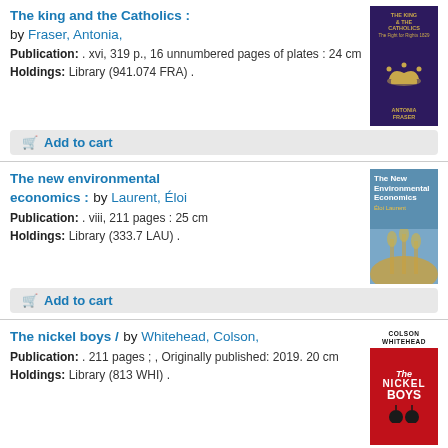The king and the Catholics :
by Fraser, Antonia,
Publication: . xvi, 319 p., 16 unnumbered pages of plates : 24 cm
Holdings: Library (941.074 FRA) .
Add to cart
[Figure (illustration): Book cover: The King and the Catholics by Antonia Fraser, dark purple background with gold crown]
The new environmental economics :
by Laurent, Éloi
Publication: . viii, 211 pages : 25 cm
Holdings: Library (333.7 LAU) .
Add to cart
[Figure (illustration): Book cover: The New Environmental Economics by Éloi Laurent, blue background with wheat field]
The nickel boys /
by Whitehead, Colson,
Publication: . 211 pages ; , Originally published: 2019. 20 cm
Holdings: Library (813 WHI) .
Add to cart
[Figure (illustration): Book cover: The Nickel Boys by Colson Whitehead, red background with title in white]